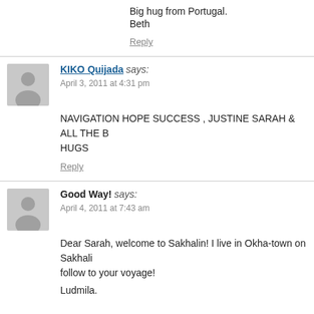Big hug from Portugal.
Beth
Reply
KIKO Quijada says: April 3, 2011 at 4:31 pm
NAVIGATION HOPE SUCCESS , JUSTINE SARAH & ALL THE B... HUGS
Reply
Good Way! says: April 4, 2011 at 7:43 am
Dear Sarah, welcome to Sakhalin! I live in Okha-town on Sakhali... follow to your voyage!
Ludmila.